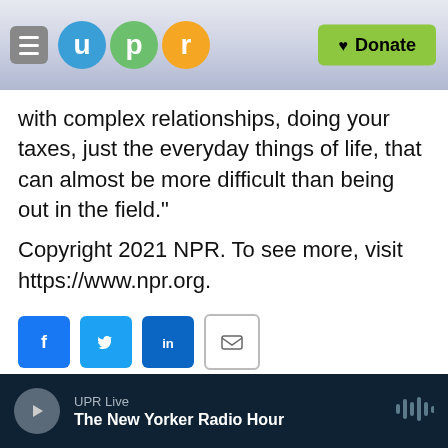[Figure (screenshot): UPR navigation bar with hamburger menu, UPR logo circles (u, p, r), and green Donate button]
with complex relationships, doing your taxes, just the everyday things of life, that can almost be more difficult than being out in the field."
Copyright 2021 NPR. To see more, visit https://www.npr.org.
[Figure (infographic): Social sharing buttons: Facebook, Twitter, LinkedIn, Email]
NPR Staff
See stories by NPR Staff
UPR Live — The New Yorker Radio Hour